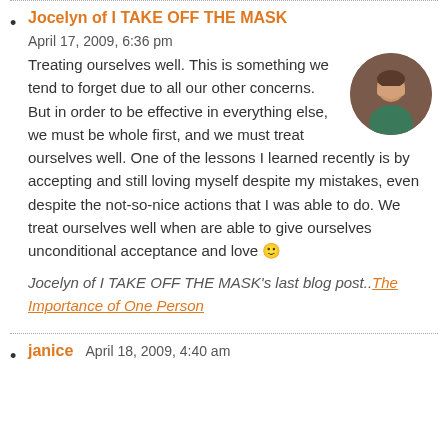Jocelyn of I TAKE OFF THE MASK   April 17, 2009, 6:36 pm

Treating ourselves well. This is something we tend to forget due to all our other concerns. But in order to be effective in everything else, we must be whole first, and we must treat ourselves well. One of the lessons I learned recently is by accepting and still loving myself despite my mistakes, even despite the not-so-nice actions that I was able to do. We treat ourselves well when are able to give ourselves unconditional acceptance and love 🙂

Jocelyn of I TAKE OFF THE MASK's last blog post.. The Importance of One Person
janice   April 18, 2009, 4:40 am